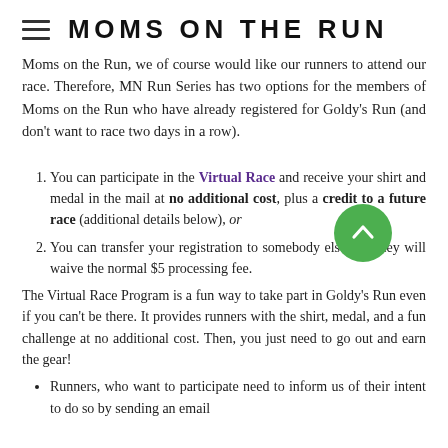MOMS ON THE RUN
Moms on the Run, we of course would like our runners to attend our race. Therefore, MN Run Series has two options for the members of Moms on the Run who have already registered for Goldy's Run (and don't want to race two days in a row).
1. You can participate in the Virtual Race and receive your shirt and medal in the mail at no additional cost, plus a credit to a future race (additional details below), or
2. You can transfer your registration to somebody else and they will waive the normal $5 processing fee.
The Virtual Race Program is a fun way to take part in Goldy's Run even if you can't be there. It provides runners with the shirt, medal, and a fun challenge at no additional cost. Then, you just need to go out and earn the gear!
Runners, who want to participate need to inform us of their intent to do so by sending an email